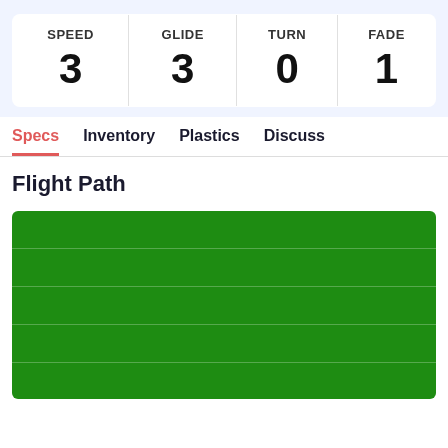| SPEED | GLIDE | TURN | FADE |
| --- | --- | --- | --- |
| 3 | 3 | 0 | 1 |
Specs | Inventory | Plastics | Discuss
Flight Path
[Figure (other): A green disc golf flight path diagram showing a field-style green background with horizontal light lines across it, representing the field zones.]